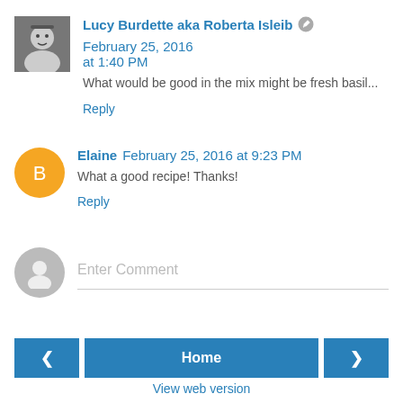Lucy Burdette aka Roberta Isleib · February 25, 2016 at 1:40 PM
What would be good in the mix might be fresh basil...
Reply
Elaine  February 25, 2016 at 9:23 PM
What a good recipe! Thanks!
Reply
Enter Comment
Home
View web version